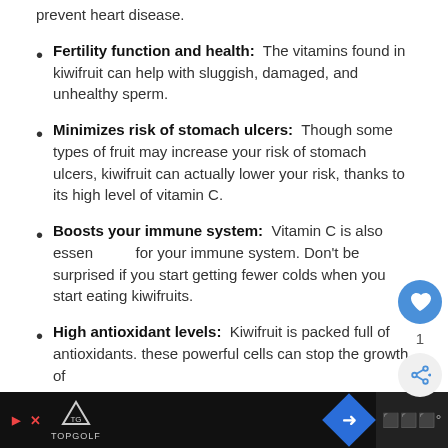prevent heart disease.
Fertility function and health: The vitamins found in kiwifruit can help with sluggish, damaged, and unhealthy sperm.
Minimizes risk of stomach ulcers: Though some types of fruit may increase your risk of stomach ulcers, kiwifruit can actually lower your risk, thanks to its high level of vitamin C.
Boosts your immune system: Vitamin C is also essential for your immune system. Don't be surprised if you start getting fewer colds when you start eating kiwifruits.
High antioxidant levels: Kiwifruit is packed full of antioxidants. these powerful cells can stop the growth of
[Figure (screenshot): Mobile app UI overlay showing a heart/like button (blue circle with heart icon) and a share button (grey circle with share icon) with count '1', floating on the right side of the screen]